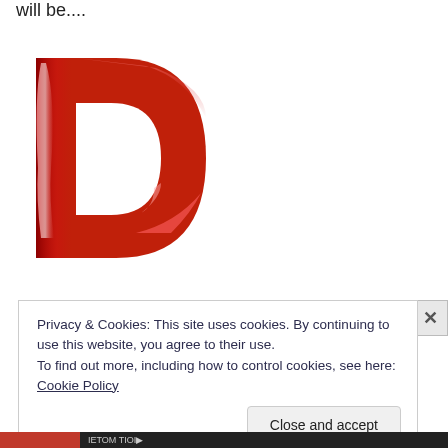will be....
[Figure (illustration): A large glossy red 3D letter D on a white background]
Privacy & Cookies: This site uses cookies. By continuing to use this website, you agree to their use.
To find out more, including how to control cookies, see here: Cookie Policy
Close and accept